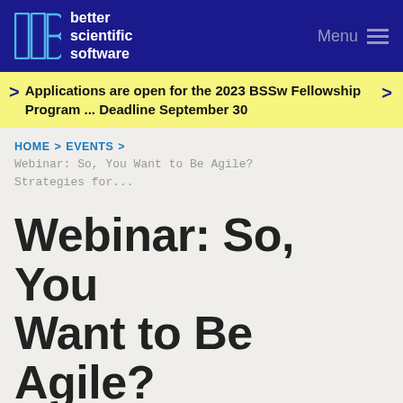better scientific software | Menu
Applications are open for the 2023 BSSw Fellowship Program ... Deadline September 30
HOME > EVENTS > Webinar: So, You Want to Be Agile? Strategies for...
Webinar: So, You Want to Be Agile? Strategies for